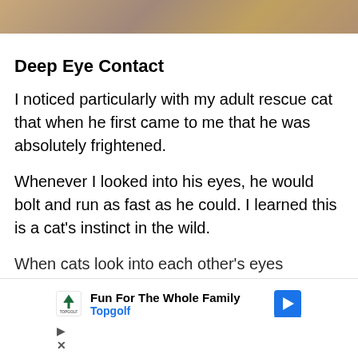[Figure (photo): Partial photo strip at top of page showing what appears to be a person with a cat, cropped and partially visible]
Deep Eye Contact
I noticed particularly with my adult rescue cat that when he first came to me that he was absolutely frightened.
Whenever I looked into his eyes, he would bolt and run as fast as he could. I learned this is a cat's instinct in the wild.
When cats look into each other's eyes
[Figure (other): Advertisement overlay for Topgolf: 'Fun For The Whole Family' with Topgolf logo and navigation arrow icon, plus play and close controls]